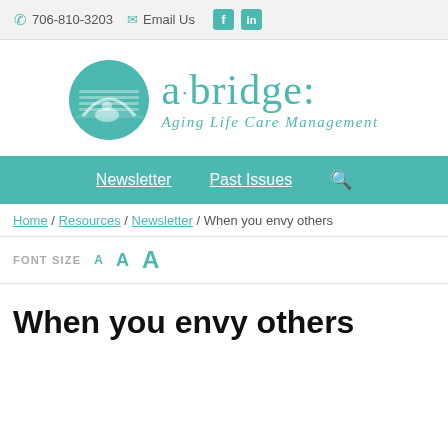706-810-3203  Email Us
[Figure (logo): a-bridge: Aging Life Care Management logo with teal circle icon and teal text]
Newsletter  Past Issues  Search
Home / Resources / Newsletter / When you envy others
FONT SIZE  A  A  A
When you envy others